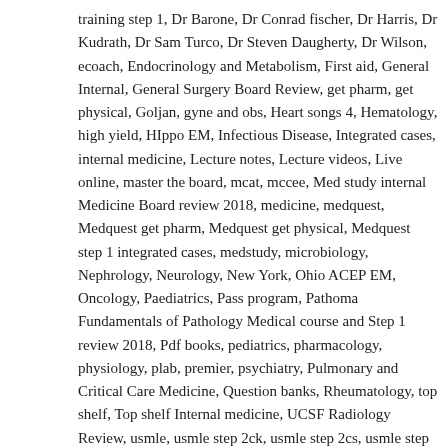training step 1, Dr Barone, Dr Conrad fischer, Dr Harris, Dr Kudrath, Dr Sam Turco, Dr Steven Daugherty, Dr Wilson, ecoach, Endocrinology and Metabolism, First aid, General Internal, General Surgery Board Review, get pharm, get physical, Goljan, gyne and obs, Heart songs 4, Hematology, high yield, HIppo EM, Infectious Disease, Integrated cases, internal medicine, Lecture notes, Lecture videos, Live online, master the board, mcat, mccee, Med study internal Medicine Board review 2018, medicine, medquest, Medquest get pharm, Medquest get physical, Medquest step 1 integrated cases, medstudy, microbiology, Nephrology, Neurology, New York, Ohio ACEP EM, Oncology, Paediatrics, Pass program, Pathoma Fundamentals of Pathology Medical course and Step 1 review 2018, Pdf books, pediatrics, pharmacology, physiology, plab, premier, psychiatry, Pulmonary and Critical Care Medicine, Question banks, Rheumatology, top shelf, Top shelf Internal medicine, UCSF Radiology Review, usmle, usmle step 2ck, usmle step 2cs, usmle step 3, usmle world / Leave a comment